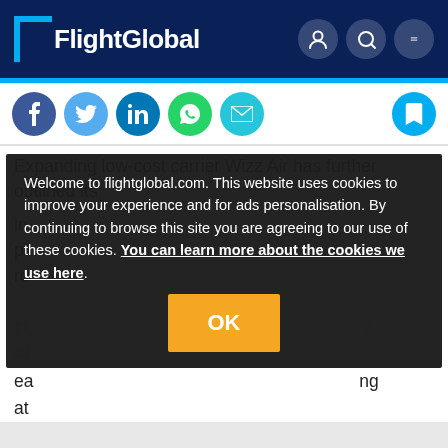FlightGlobal
[Figure (screenshot): Social sharing buttons: Facebook, Twitter, LinkedIn, WhatsApp, Email, and a save/bookmark button]
Expanding low-cost carrier Wizz Air has further outlined its in... pl... ro...
Welcome to flightglobal.com. This website uses cookies to improve your experience and for ads personalisation. By continuing to browse this site you are agreeing to our use of these cookies. You can learn more about the cookies we use here.
In... z Ai... ea... ng at...
OK